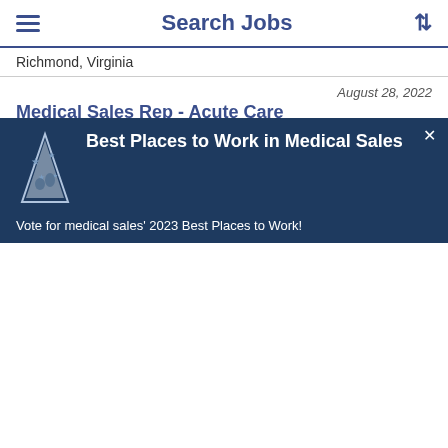Search Jobs
Richmond, Virginia
August 28, 2022 | Medical Sales Rep - Acute Care | Medical Devices | Sales | -Multiple Markets- | -Multiple Call Points- | $70K - $140K | West Palm Beach, Florida
August 28, 2022 | Medical Sales Rep - Acute Care
[Figure (infographic): Dark blue promotional banner overlay with trophy icon: 'Best Places to Work in Medical Sales' and text 'Vote for medical sales' 2023 Best Places to Work!']